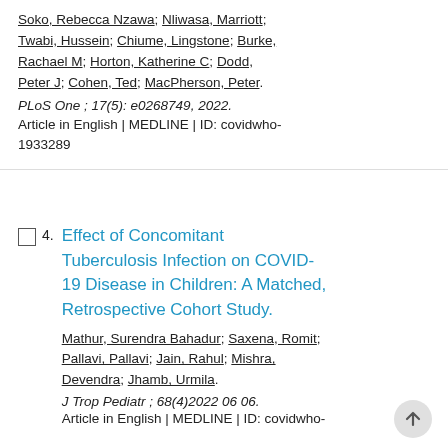Soko, Rebecca Nzawa; Nliwasa, Marriott; Twabi, Hussein; Chiume, Lingstone; Burke, Rachael M; Horton, Katherine C; Dodd, Peter J; Cohen, Ted; MacPherson, Peter.
PLoS One ; 17(5): e0268749, 2022.
Article in English | MEDLINE | ID: covidwho-1933289
Effect of Concomitant Tuberculosis Infection on COVID-19 Disease in Children: A Matched, Retrospective Cohort Study.
Mathur, Surendra Bahadur; Saxena, Romit; Pallavi, Pallavi; Jain, Rahul; Mishra, Devendra; Jhamb, Urmila.
J Trop Pediatr ; 68(4)2022 06 06.
Article in English | MEDLINE | ID: covidwho-